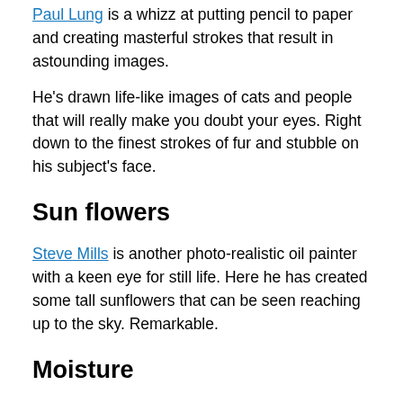Paul Lung is a whizz at putting pencil to paper and creating masterful strokes that result in astounding images.
He's drawn life-like images of cats and people that will really make you doubt your eyes. Right down to the finest strokes of fur and stubble on his subject's face.
Sun flowers
Steve Mills is another photo-realistic oil painter with a keen eye for still life. Here he has created some tall sunflowers that can be seen reaching up to the sky. Remarkable.
Moisture
This highly detailed portrait by Philipp Weber is actually an incredible oil painting on canvas and part of a series capturing the beauty of the subject Antonia for all to